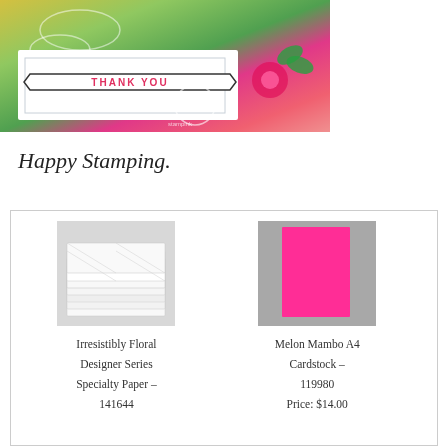[Figure (photo): A handmade thank you card with a pink/magenta banner reading THANK YOU, colorful floral background with greens and pinks, on a light surface. Website watermark visible.]
Happy Stamping.
[Figure (photo): Product listing area showing two products: 1) Irresistibly Floral Designer Series Specialty Paper – 141644 (shown as stacked white chevron-patterned sheets) and 2) Melon Mambo A4 Cardstock – 119980, Price: $14.00 (shown as a bright pink/magenta card on grey background).]